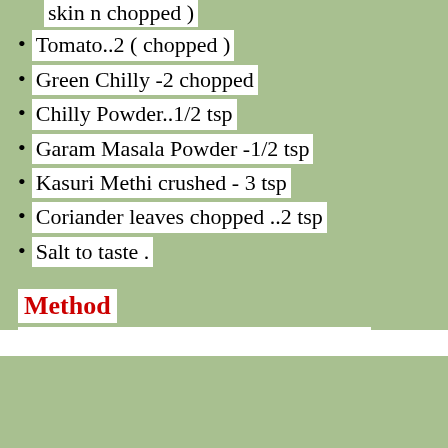skin n chopped )
Tomato..2 ( chopped )
Green Chilly -2 chopped
Chilly Powder..1/2 tsp
Garam Masala Powder -1/2 tsp
Kasuri Methi crushed - 3 tsp
Coriander leaves chopped ..2 tsp
Salt to taste .
Method
Wash n chop capsicum to 2 inch pieces